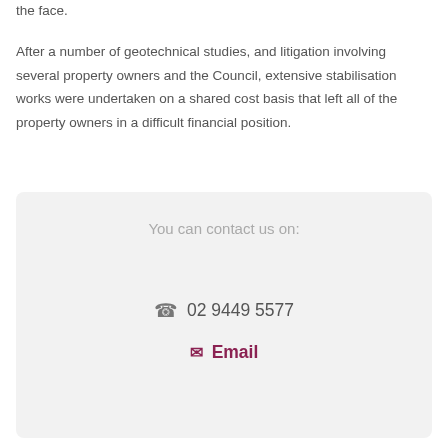the face.
After a number of geotechnical studies, and litigation involving several property owners and the Council, extensive stabilisation works were undertaken on a shared cost basis that left all of the property owners in a difficult financial position.
You can contact us on:
☎ 02 9449 5577
✉ Email